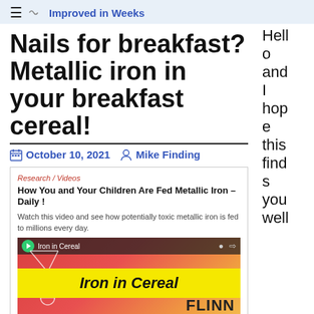≡  Improved in Weeks
Nails for breakfast? Metallic iron in your breakfast cereal!
October 10, 2021   Mike Finding
[Figure (screenshot): Embedded video thumbnail showing 'How You and Your Children Are Fed Metallic Iron – Daily!' with Iron in Cereal video preview from Flinn Scientific, Inc.]
Hello and I hope this finds you well